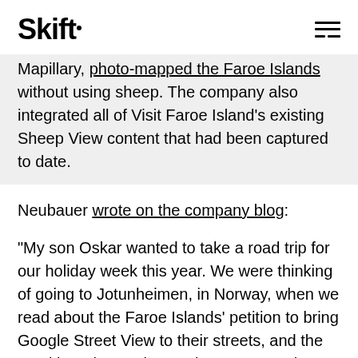Skift
Mapillary, photo-mapped the Faroe Islands without using sheep. The company also integrated all of Visit Faroe Island's existing Sheep View content that had been captured to date.
Neubauer wrote on the company blog:
“My son Oskar wanted to take a road trip for our holiday week this year. We were thinking of going to Jotunheimen, in Norway, when we read about the Faroe Islands’ petition to bring Google Street View to their streets, and the resulting Sheep View project. ‘How cool!’ we thought — that’s exactly the Mapillary spirit! We realized that there